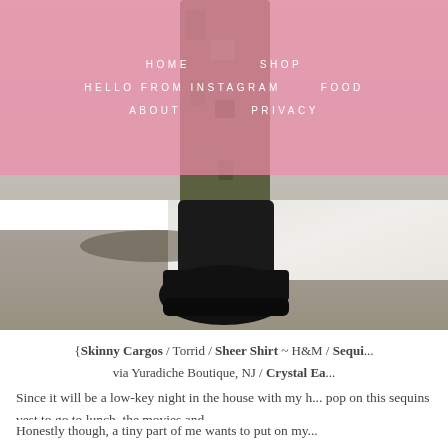HOME  SHOP  HELLO FROM INSTAGRAM  FOOD  ABOUT  PRIVACY
[Figure (photo): Close-up photo of a person wearing black wedge boots with camouflage pants, standing on a wet concrete surface with snow and a puddle visible]
{Skinny Cargos / Torrid / Sheer Shirt ~ H&M / Sequi... via Yuradiche Boutique, NJ / Crystal Ea...
Since it will be a low-key night in the house with my h... pop on this sequins vest to go to lunch, the movies and...
Honestly though, a tiny part of me wants to put on my...